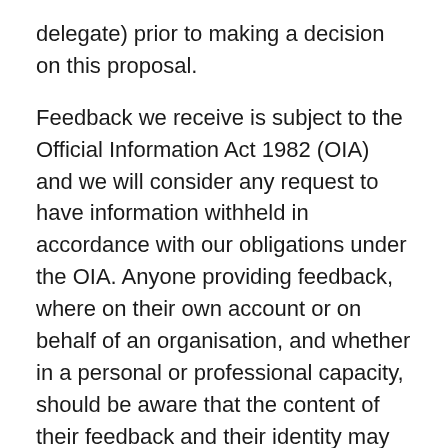delegate) prior to making a decision on this proposal.
Feedback we receive is subject to the Official Information Act 1982 (OIA) and we will consider any request to have information withheld in accordance with our obligations under the OIA. Anyone providing feedback, where on their own account or on behalf of an organisation, and whether in a personal or professional capacity, should be aware that the content of their feedback and their identity may need to be disclosed in response to an OIA request.
We are not able to treat any part of your feedback as confidential unless you specifically request that we do, and then only to the extent permissible under the OIA and other relevant laws and